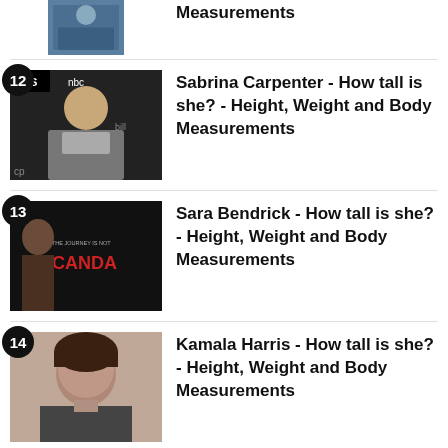Measurements
12 Sabrina Carpenter - How tall is she? - Height, Weight and Body Measurements
13 Sara Bendrick - How tall is she? - Height, Weight and Body Measurements
14 Kamala Harris - How tall is she? - Height, Weight and Body Measurements
15 Gizelle Bryant - How tall is she? -